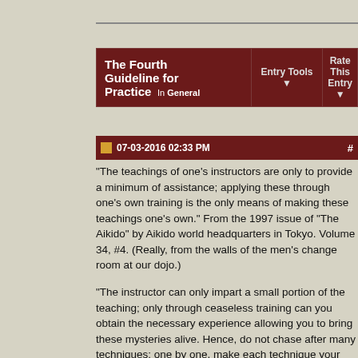The Fourth Guideline for Practice  In General
07-03-2016 02:33 PM
"The teachings of one's instructors are only to provide a minimum of assistance; applying these through one's own training is the only means of making these teachings one's own." From the 1997 issue of "The Aikido" by Aikido world headquarters in Tokyo. Volume 34, #4. (Really, from the walls of the men's change room at our dojo.)
"The instructor can only impart a small portion of the teaching; only through ceaseless training can you obtain the necessary experience allowing you to bring these mysteries alive. Hence, do not chase after many techniques; one by one, make each technique your own." Budo
"The teachings of your instructor constitute only a small fraction of what you will learn. Your mastery of each movement will depend almost entirely on individual, earnest practice." Aikido
Kisshomaru Ueshiba expounds on this in Aikido: